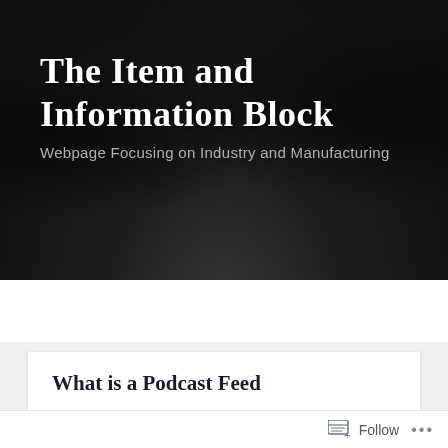The Item and Information Block
Webpage Focusing on Industry and Manufacturing
MENU
What is a Podcast Feed
Follow ...